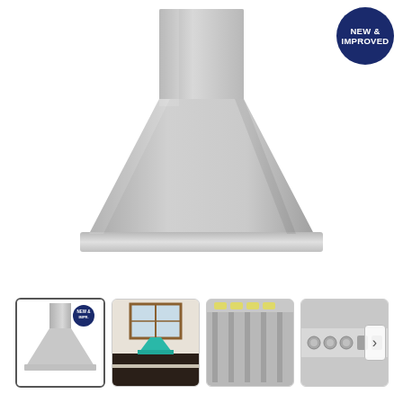[Figure (photo): Stainless steel wall-mount range hood with pyramid chimney design, shown on white background. A dark blue circular badge in the top right reads 'NEW & IMPROVED'.]
[Figure (photo): Thumbnail 1 (active/selected): Same range hood product photo with 'NEW & IMPROVED' badge, white background.]
[Figure (photo): Thumbnail 2: Kitchen scene showing a teal/turquoise range hood installed in a dark-cabinet kitchen with white walls and windows.]
[Figure (photo): Thumbnail 3: Interior view of range hood showing lights and baffles, stainless steel interior.]
[Figure (photo): Thumbnail 4: Close-up of range hood controls/switches panel, stainless steel.]